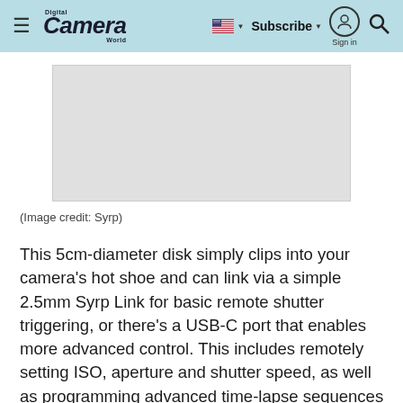Digital Camera World — Subscribe | Sign in
[Figure (photo): Gray placeholder rectangle representing a product image, centered on the page.]
(Image credit: Syrp)
This 5cm-diameter disk simply clips into your camera's hot shoe and can link via a simple 2.5mm Syrp Link for basic remote shutter triggering, or there's a USB-C port that enables more advanced control. This includes remotely setting ISO, aperture and shutter speed, as well as programming advanced time-lapse sequences with exposure ramping. This